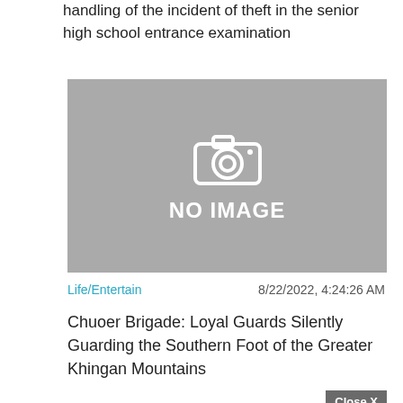Shanghai notified the investigation and handling of the incident of theft in the senior high school entrance examination
[Figure (photo): No image placeholder with camera icon and 'NO IMAGE' text on gray background]
Life/Entertain    8/22/2022, 4:24:26 AM
Chuoer Brigade: Loyal Guards Silently Guarding the Southern Foot of the Greater Khingan Mountains
Close X
[Figure (photo): Second no image placeholder with camera icon on gray background, partially visible]